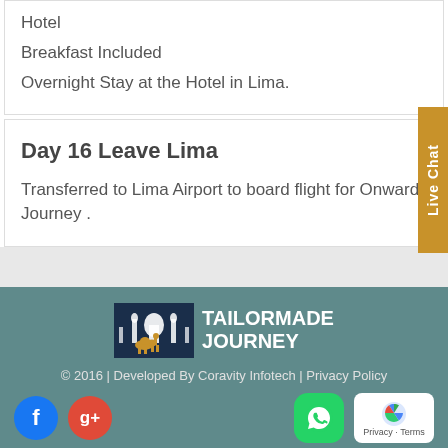Hotel
Breakfast Included
Overnight Stay at the Hotel in Lima.
Day 16 Leave Lima
Transferred to Lima Airport to board flight for Onward Journey .
[Figure (logo): Tailormade Journey logo with camel and building silhouette]
© 2016 | Developed By Coravity Infotech | Privacy Policy